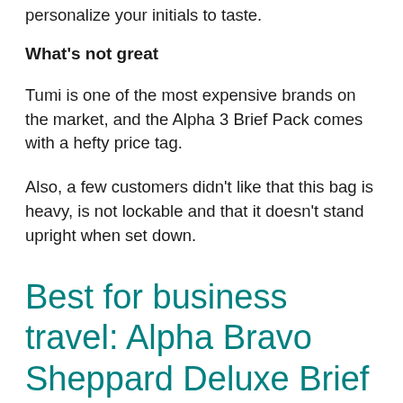personalize your initials to taste.
What's not great
Tumi is one of the most expensive brands on the market, and the Alpha 3 Brief Pack comes with a hefty price tag.
Also, a few customers didn't like that this bag is heavy, is not lockable and that it doesn't stand upright when set down.
Best for business travel: Alpha Bravo Sheppard Deluxe Brief Pack